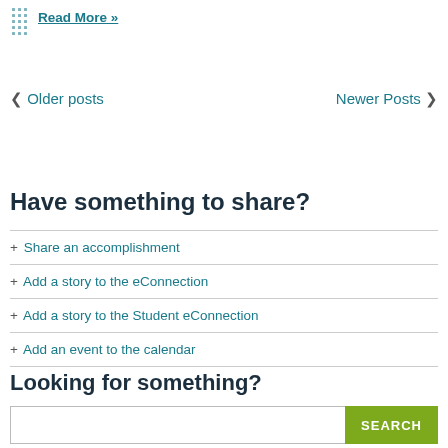Read More »
< Older posts    Newer Posts >
Have something to share?
+ Share an accomplishment
+ Add a story to the eConnection
+ Add a story to the Student eConnection
+ Add an event to the calendar
Looking for something?
SEARCH